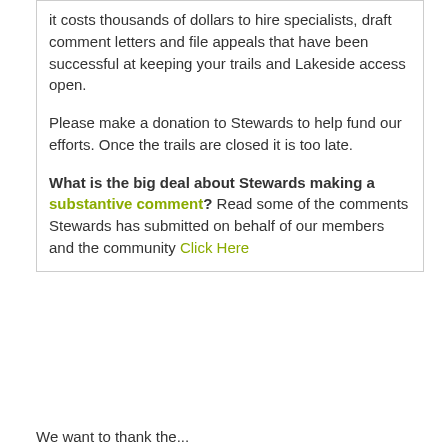it costs thousands of dollars to hire specialists, draft comment letters and file appeals that have been successful at keeping your trails and Lakeside access open.
Please make a donation to Stewards to help fund our efforts. Once the trails are closed it is too late.
What is the big deal about Stewards making a substantive comment? Read some of the comments Stewards has submitted on behalf of our members and the community Click Here
We want to thank the...